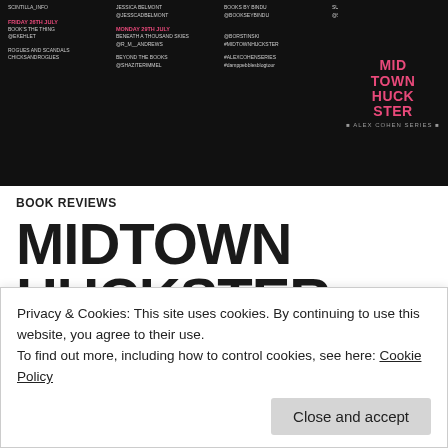[Figure (screenshot): Dark banner image showing a book blog tour schedule with text columns listing dates, blog names and social handles in white and pink text, alongside a book cover for 'Midtown Huckster – Alex Cohen Series' in pink on dark background]
BOOK REVIEWS
MIDTOWN HUCKSTER (ALEX COHEN #3) – A DAMPPEBBLES
Privacy & Cookies: This site uses cookies. By continuing to use this website, you agree to their use.
To find out more, including how to control cookies, see here: Cookie Policy
Close and accept